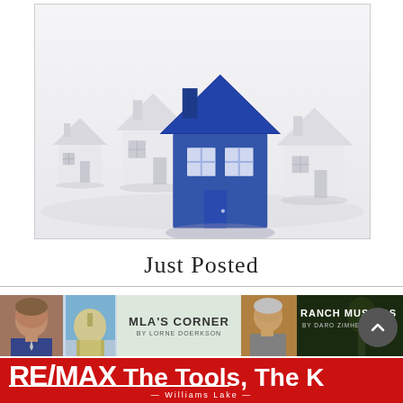[Figure (illustration): Row of 3D white house models with one blue house in the center standing out, on a white background]
Just Posted
[Figure (illustration): MLA's Corner banner by Lorne Doerkson with photo of a man and parliament dome]
[Figure (illustration): Ranch Musings banner by Daro Zimhelt with photo of a man and forest background]
[Figure (logo): RE/MAX Williams Lake red banner with text 'The Tools, The K']